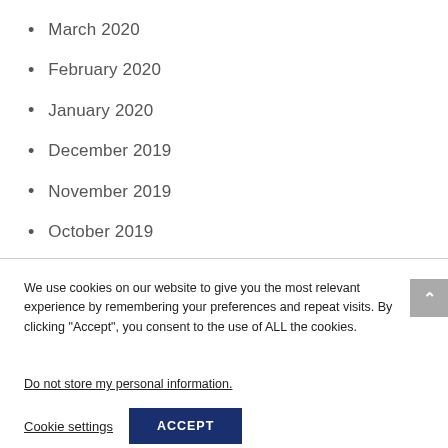March 2020
February 2020
January 2020
December 2019
November 2019
October 2019
September 2019
We use cookies on our website to give you the most relevant experience by remembering your preferences and repeat visits. By clicking “Accept”, you consent to the use of ALL the cookies.
Do not store my personal information.
Cookie settings  ACCEPT